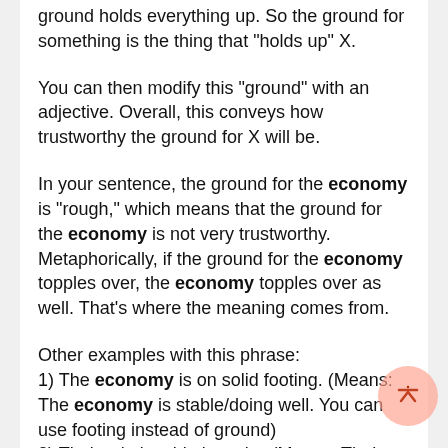ground holds everything up. So the ground for something is the thing that "holds up" X.
You can then modify this "ground" with an adjective. Overall, this conveys how trustworthy the ground for X will be.
In your sentence, the ground for the economy is "rough," which means that the ground for the economy is not very trustworthy. Metaphorically, if the ground for the economy topples over, the economy topples over as well. That's where the meaning comes from.
Other examples with this phrase:
1) The economy is on solid footing. (Means: The economy is stable/doing well. You can use footing instead of ground)
2) Their relationship is rocky. (Means: Their relationship is not going well. This is not technically the same pattern, but it uses the same concept of describing X with its "foundation.")